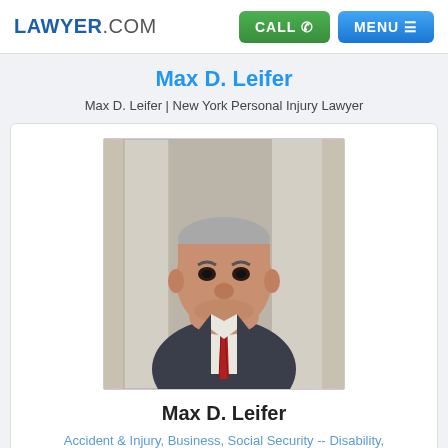LAWYER.COM | CALL | MENU
Max D. Leifer
Max D. Leifer | New York Personal Injury Lawyer
[Figure (photo): Professional headshot of Max D. Leifer, an older man in a dark suit with a red striped tie, standing in front of stone columns.]
Max D. Leifer
Accident & Injury, Business, Social Security -- Disability, Social Security
http://www.maxleifer.com